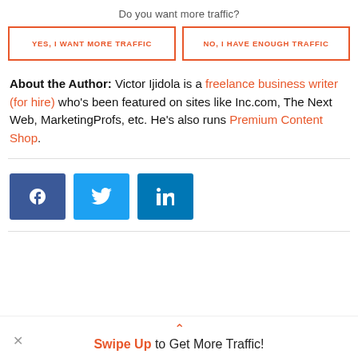Do you want more traffic?
YES, I WANT MORE TRAFFIC
NO, I HAVE ENOUGH TRAFFIC
About the Author: Victor Ijidola is a freelance business writer (for hire) who's been featured on sites like Inc.com, The Next Web, MarketingProfs, etc. He's also runs Premium Content Shop.
[Figure (infographic): Social share buttons: Facebook (blue), Twitter (light blue), LinkedIn (dark blue)]
Swipe Up to Get More Traffic!